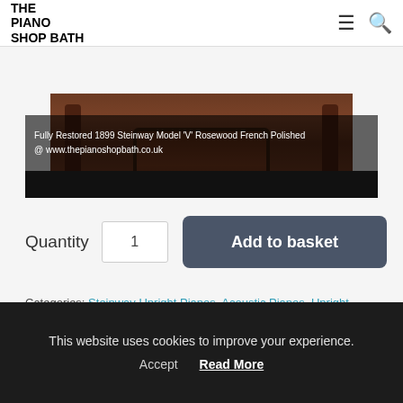THE PIANO SHOP BATH
[Figure (photo): Fully restored 1899 Steinway Model V Rosewood French Polished piano cabinet detail with decorative overlay text and dark bar at bottom]
Fully Restored 1899 Steinway Model 'V' Rosewood French Polished @ www.thepianoshopbath.co.uk
Quantity  1   Add to basket
Categories: Steinway Upright Pianos, Acoustic Pianos, Upright Pianos, Secondhand Upright Pianos  Tags: Model V, Second Hand, Steinway, steinway model v, upright piano
This website uses cookies to improve your experience.
Accept   Read More